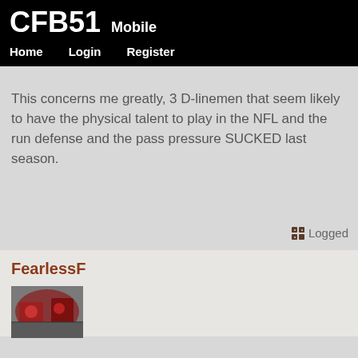CFB51 Mobile
Home
Login
Register
This concerns me greatly, 3 D-linemen that seem likely to have the physical talent to play in the NFL and the run defense and the pass pressure SUCKED last season.
Logged
FearlessF
[Figure (photo): User avatar photo showing a football game scene with players in red uniforms]